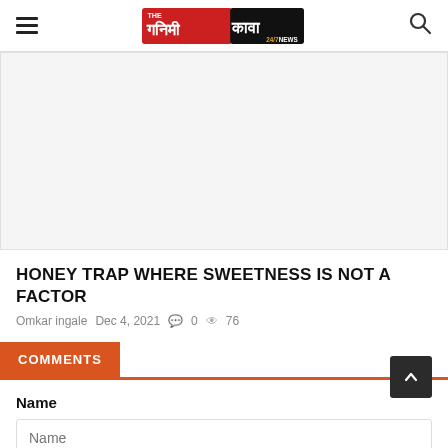THE गनिमी कावा 24/7 NEWS
[Figure (photo): Article hero image placeholder — light gray rectangle]
HONEY TRAP WHERE SWEETNESS IS NOT A FACTOR
Omkar ingale  Dec 4, 2021  💬 0  👁 76
COMMENTS
Name
Name (input placeholder)